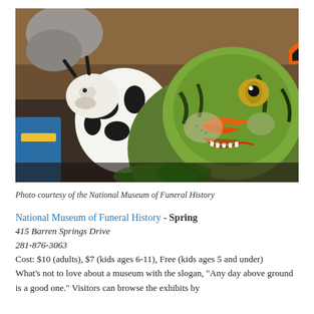[Figure (photo): Colorful decorative animal figurines including a black-and-white spotted cow and a vivid green-orange tiger/cat figure, displayed in what appears to be a museum exhibit setting.]
Photo courtesy of the National Museum of Funeral History
National Museum of Funeral History - Spring
415 Barren Springs Drive
281-876-3063
Cost: $10 (adults), $7 (kids ages 6-11), Free (kids ages 5 and under)
What's not to love about a museum with the slogan, "Any day above ground is a good one." Visitors can browse the exhibits by